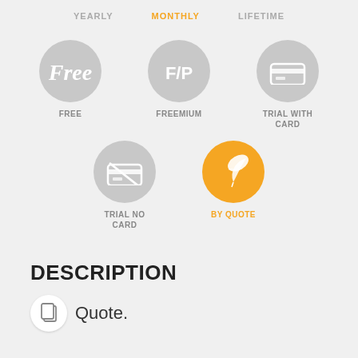[Figure (infographic): Pricing type selector UI with tabs: YEARLY, MONTHLY (active/orange), LIFETIME. Five circular icons: FREE (cursive Free text), FREEMIUM (F/P text), TRIAL WITH CARD (card icon), TRIAL NO CARD (crossed card icon), BY QUOTE (feather/quill icon, orange/active). BY QUOTE is highlighted in orange.]
DESCRIPTION
Quote.